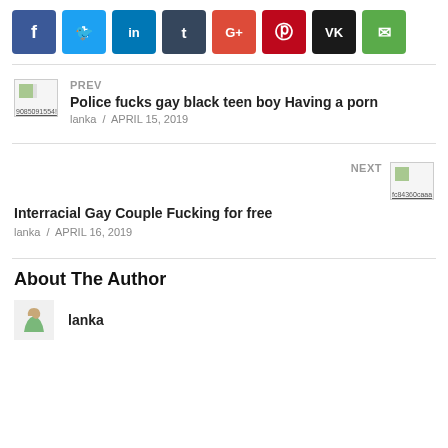[Figure (infographic): Social media share buttons: Facebook (blue), Twitter (light blue), LinkedIn (blue), Tumblr (dark blue), Google+ (red), Pinterest (dark red), VK (black), Email (green)]
PREV
9085091554!
Police fucks gay black teen boy Having a porn
lanka / APRIL 15, 2019
NEXT
fc84360caaa
Interracial Gay Couple Fucking for free
lanka / APRIL 16, 2019
About The Author
lanka